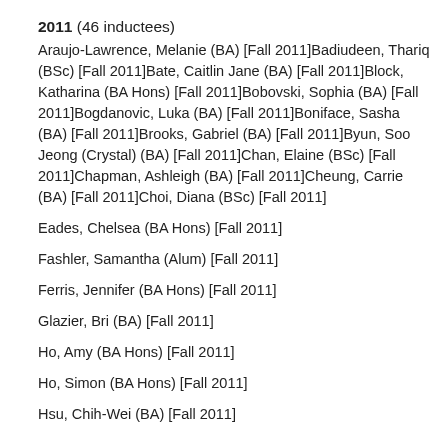2011 (46 inductees)
Araujo-Lawrence, Melanie (BA) [Fall 2011]Badiudeen, Thariq (BSc) [Fall 2011]Bate, Caitlin Jane (BA) [Fall 2011]Block, Katharina (BA Hons) [Fall 2011]Bobovski, Sophia (BA) [Fall 2011]Bogdanovic, Luka (BA) [Fall 2011]Boniface, Sasha (BA) [Fall 2011]Brooks, Gabriel (BA) [Fall 2011]Byun, Soo Jeong (Crystal) (BA) [Fall 2011]Chan, Elaine (BSc) [Fall 2011]Chapman, Ashleigh (BA) [Fall 2011]Cheung, Carrie (BA) [Fall 2011]Choi, Diana (BSc) [Fall 2011]
Eades, Chelsea (BA Hons) [Fall 2011]
Fashler, Samantha (Alum) [Fall 2011]
Ferris, Jennifer (BA Hons) [Fall 2011]
Glazier, Bri (BA) [Fall 2011]
Ho, Amy (BA Hons) [Fall 2011]
Ho, Simon (BA Hons) [Fall 2011]
Hsu, Chih-Wei (BA) [Fall 2011]